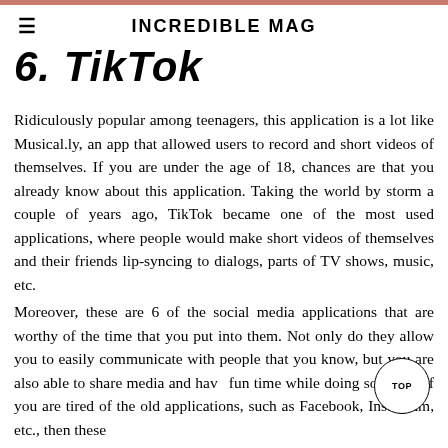≡  INCREDIBLE MAG
6. TikTok
Ridiculously popular among teenagers, this application is a lot like Musical.ly, an app that allowed users to record and short videos of themselves. If you are under the age of 18, chances are that you already know about this application. Taking the world by storm a couple of years ago, TikTok became one of the most used applications, where people would make short videos of themselves and their friends lip-syncing to dialogs, parts of TV shows, music, etc.
Moreover, these are 6 of the social media applications that are worthy of the time that you put into them. Not only do they allow you to easily communicate with people that you know, but you are also able to share media and have fun time while doing so. Thus, if you are tired of the old applications, such as Facebook, Instagram, etc., then these